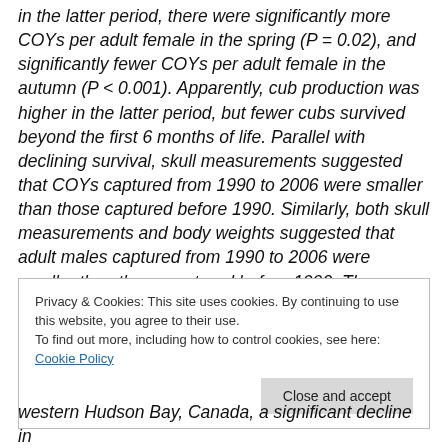in the latter period, there were significantly more COYs per adult female in the spring (P = 0.02), and significantly fewer COYs per adult female in the autumn (P < 0.001). Apparently, cub production was higher in the latter period, but fewer cubs survived beyond the first 6 months of life. Parallel with declining survival, skull measurements suggested that COYs captured from 1990 to 2006 were smaller than those captured before 1990. Similarly, both skull measurements and body weights suggested that adult males captured from 1990 to 2006 were smaller than those captured before 1990. The smaller stature of males
Privacy & Cookies: This site uses cookies. By continuing to use this website, you agree to their use.
To find out more, including how to control cookies, see here: Cookie Policy
western Hudson Bay, Canada, a significant decline in